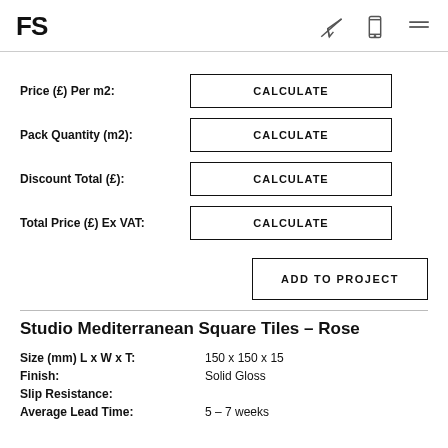FS
Price (£) Per m2: CALCULATE
Pack Quantity (m2): CALCULATE
Discount Total (£): CALCULATE
Total Price (£) Ex VAT: CALCULATE
ADD TO PROJECT
Studio Mediterranean Square Tiles – Rose
| Property | Value |
| --- | --- |
| Size (mm) L x W x T: | 150 x 150 x 15 |
| Finish: | Solid Gloss |
| Slip Resistance: |  |
| Average Lead Time: | 5 – 7 weeks |